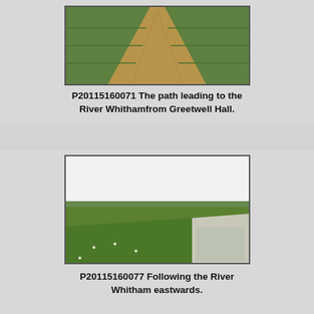[Figure (photo): A dirt path leading straight through green crop fields toward the horizon]
P20115160071 The path leading to the River Whithamfrom Greetwell Hall.
[Figure (photo): A view following the River Whitham eastwards, with green grassy banks and a calm waterway]
P20115160077 Following the River Whitham eastwards.